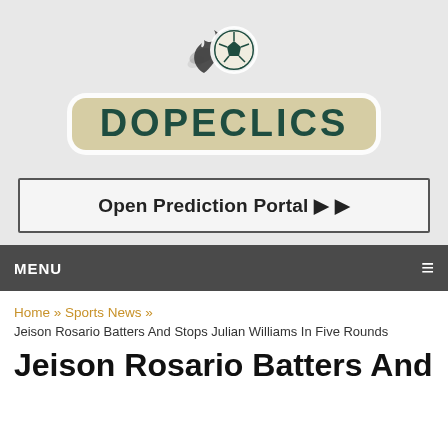[Figure (logo): Dopeclics logo with soccer ball icon on fire above the brand name in dark green on beige/tan rounded rectangle background]
Open Prediction Portal ▶ ▶
MENU ≡
Home » Sports News » Jeison Rosario Batters And Stops Julian Williams In Five Rounds
Jeison Rosario Batters And